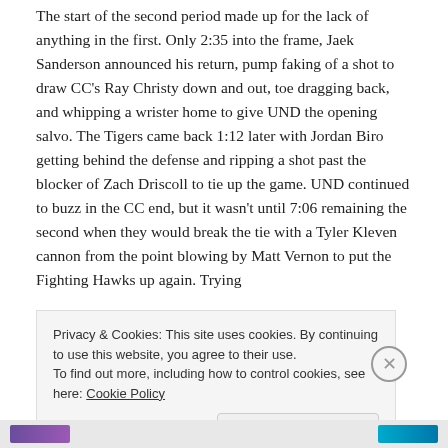The start of the second period made up for the lack of anything in the first. Only 2:35 into the frame, Jaek Sanderson announced his return, pump faking of a shot to draw CC's Ray Christy down and out, toe dragging back, and whipping a wrister home to give UND the opening salvo. The Tigers came back 1:12 later with Jordan Biro getting behind the defense and ripping a shot past the blocker of Zach Driscoll to tie up the game. UND continued to buzz in the CC end, but it wasn't until 7:06 remaining the second when they would break the tie with a Tyler Kleven cannon from the point blowing by Matt Vernon to put the Fighting Hawks up again. Trying
Privacy & Cookies: This site uses cookies. By continuing to use this website, you agree to their use.
To find out more, including how to control cookies, see here: Cookie Policy